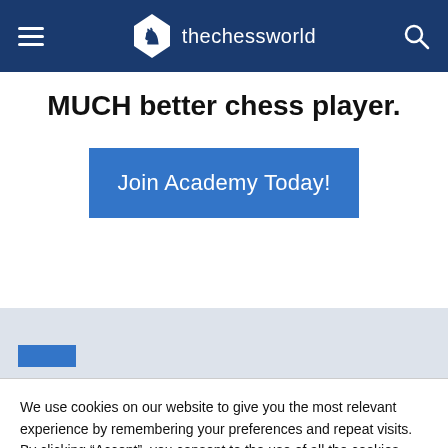thechessworld
MUCH better chess player.
Join Academy Today!
[Figure (screenshot): Gray section with a small blue rectangle visible at bottom left, partial background of website content]
We use cookies on our website to give you the most relevant experience by remembering your preferences and repeat visits. By clicking “Accept”, you consent to the use of all the cookies.
Cookie Settings   Accept